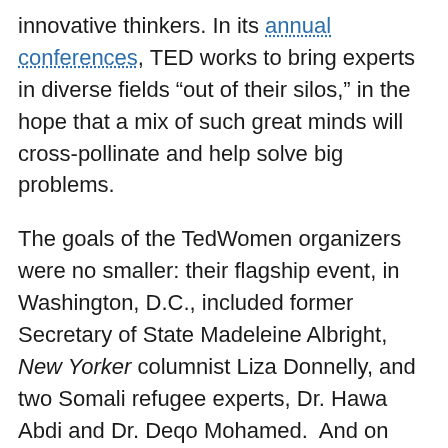innovative thinkers. In its annual conferences, TED works to bring experts in diverse fields “out of their silos,” in the hope that a mix of such great minds will cross-pollinate and help solve big problems.
The goals of the TedWomen organizers were no smaller: their flagship event, in Washington, D.C., included former Secretary of State Madeleine Albright, New Yorker columnist Liza Donnelly, and two Somali refugee experts, Dr. Hawa Abdi and Dr. Deqo Mohamed. And on Thursday, Secretary of State Hillary Clinton took the mike, telling the attendees that while scheduling had been tight, “the minute I heard there was going to be a TEDWomen, I knew I had to be here.”
Why have a TEDWomen? One example from the